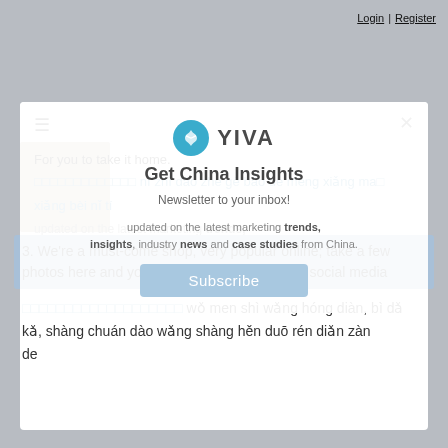Login | Register
[Figure (screenshot): YIVA logo with teal circular icon and newsletter subscription popup overlay with Subscribe button]
For you to take it home.
□□□□□□□□□□□□□ nǐ zhī dào zhè gè bāo de mèng xiǎng ma□ xiǎng bèi nǐ tí
updated on the latest marketing trends, insights, industry news and case studies from China.
3. We're a must-come shop, very popular online; take a few photos here and you'll get lots of likes on your social media
□□□□□□□□□□□□□□□□□□□ wǒ men shì wǎng hóng diàn, bì dǎ kǎ, shàng chuán dào wǎng shàng hěn duō rén diǎn zàn de